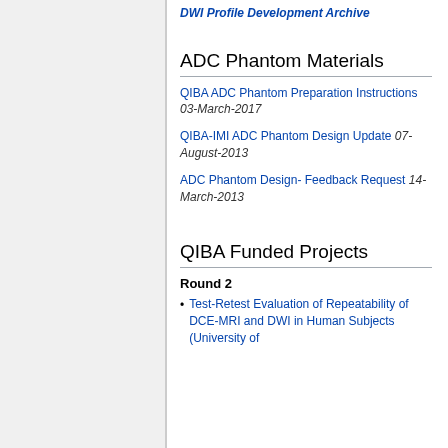DWI Profile Development Archive
ADC Phantom Materials
QIBA ADC Phantom Preparation Instructions 03-March-2017
QIBA-IMI ADC Phantom Design Update 07-August-2013
ADC Phantom Design- Feedback Request 14-March-2013
QIBA Funded Projects
Round 2
Test-Retest Evaluation of Repeatability of DCE-MRI and DWI in Human Subjects (University of